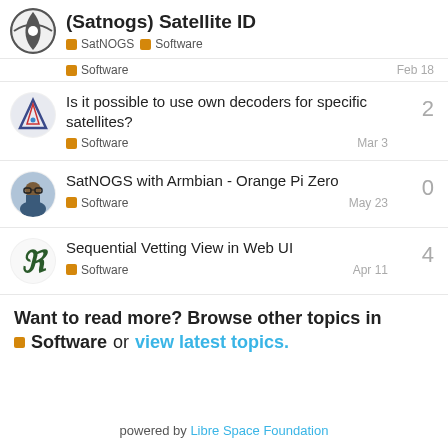(Satnogs) Satellite ID
SatNOGS  Software
Software  Feb 18
Is it possible to use own decoders for specific satellites?
Software  Mar 3  2 replies
SatNOGS with Armbian - Orange Pi Zero
Software  May 23  0 replies
Sequential Vetting View in Web UI
Software  Apr 11  4 replies
Want to read more? Browse other topics in Software or view latest topics.
powered by Libre Space Foundation